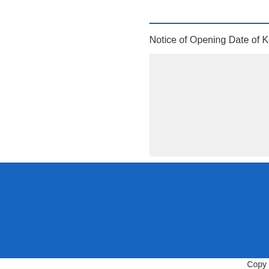Notice of Opening Date of Kid's
[Figure (logo): UFI member logo with gold stripes and white text]
[Figure (logo): AUCH Global Exhibition & Media logo with Chinese characters 奥驰展览]
Guangzhou AUCH Exhibition Services Co.,Ltd.
WeChat Official Accounts：kidsexpo    Customer service
wechat：kidsexpo3
Copy